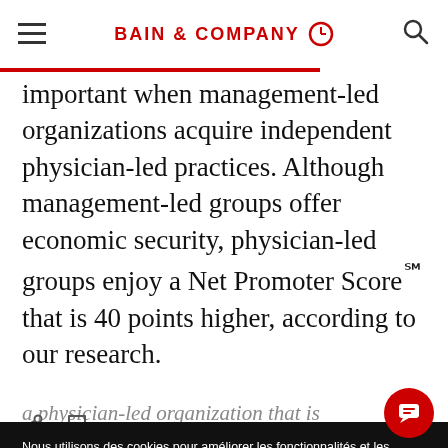BAIN & COMPANY
important when management-led organizations acquire independent physician-led practices. Although management-led groups offer economic security, physician-led groups enjoy a Net Promoter Score℠ that is 40 points higher, according to our research.
Nous utilisons des cookies pour améliorer les fonctionnalités et les performances de ce site.
AUTORISER TOUS LES COOKIES